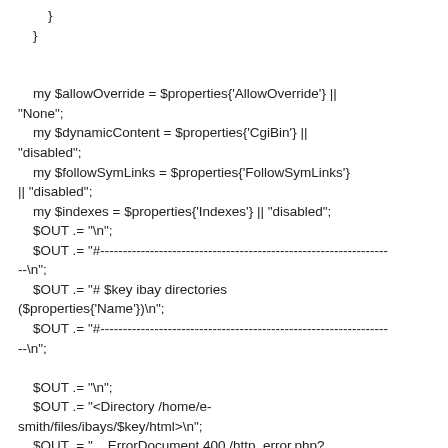}
    }


    my $allowOverride = $properties{'AllowOverride'} || "None";
    my $dynamicContent = $properties{'CgiBin'} || "disabled";
    my $followSymLinks = $properties{'FollowSymLinks'} || "disabled";
    my $indexes = $properties{'Indexes'} || "disabled";
    $OUT .= "\n";
    $OUT .= "#------------------------------------------------------------------\n";
    $OUT .= "# $key ibay directories ($properties{'Name'})\n";
    $OUT .= "#------------------------------------------------------------------\n";

    $OUT .= "\n";
    $OUT .= "<Directory /home/e-smith/files/ibays/$key/html>\n";
    $OUT .= "    ErrorDocument 400 /http_error.php?